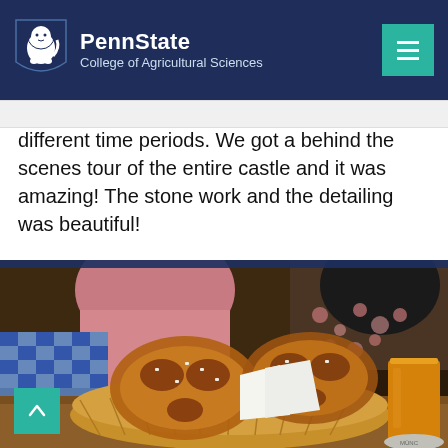PennState College of Agricultural Sciences
different time periods. We got a behind the scenes tour of the entire castle and it was amazing! The stone work and the detailing was beautiful!
[Figure (photo): Photo of a basket filled with large German pretzels on a wooden table, with a glass of beer on the right side and people seated in the background. Blue and white checkered cloth visible on the left.]